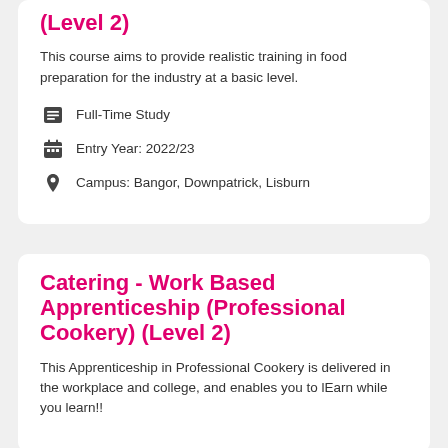(Level 2)
This course aims to provide realistic training in food preparation for the industry at a basic level.
Full-Time Study
Entry Year: 2022/23
Campus: Bangor, Downpatrick, Lisburn
Catering - Work Based Apprenticeship (Professional Cookery) (Level 2)
This Apprenticeship in Professional Cookery is delivered in the workplace and college, and enables you to lEarn while you learn!!